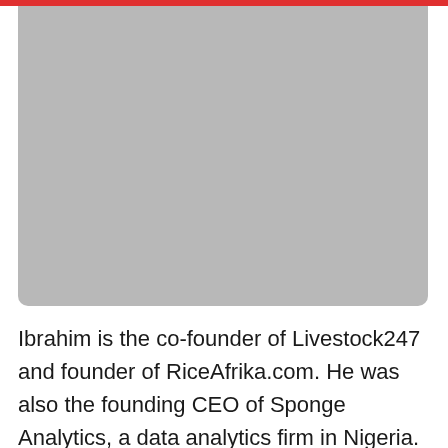[Figure (photo): Gray placeholder photo area with red bar at top and rounded bottom corners]
Ibrahim is the co-founder of Livestock247 and founder of RiceAfrika.com. He was also the founding CEO of Sponge Analytics, a data analytics firm in Nigeria.